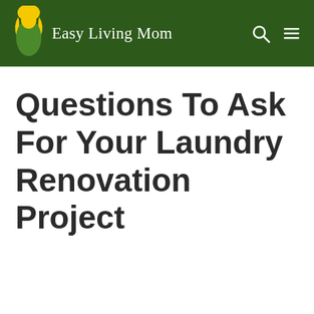Easy Living Mom
Questions To Ask For Your Laundry Renovation Project